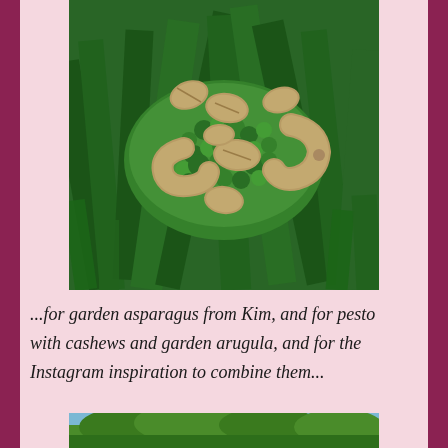[Figure (photo): Close-up photo of broccoli pesto topped with multiple cashew nuts, surrounded by green asparagus spears on a plate]
...for garden asparagus from Kim, and for pesto with cashews and garden arugula, and for the Instagram inspiration to combine them...
[Figure (photo): Partial view of an outdoor garden scene at the bottom of the page]